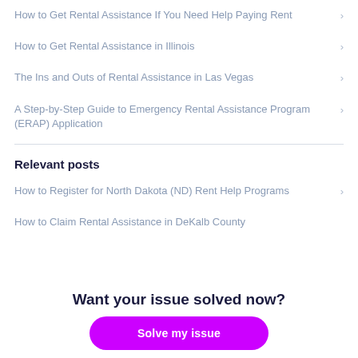How to Get Rental Assistance If You Need Help Paying Rent
How to Get Rental Assistance in Illinois
The Ins and Outs of Rental Assistance in Las Vegas
A Step-by-Step Guide to Emergency Rental Assistance Program (ERAP) Application
Relevant posts
How to Register for North Dakota (ND) Rent Help Programs
How to Claim Rental Assistance in DeKalb County
Want your issue solved now?
Solve my issue